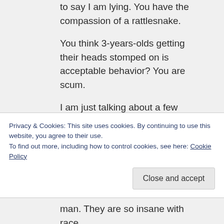to say I am lying. You have the compassion of a rattlesnake.
You think 3-years-olds getting their heads stomped on is acceptable behavior? You are scum.
I am just talking about a few things that have happened to me. You have to multiply this by 200 million whites, and you see (not you, you're blind) the extent of the black racism
Privacy & Cookies: This site uses cookies. By continuing to use this website, you agree to their use.
To find out more, including how to control cookies, see here: Cookie Policy
Close and accept
man. They are so insane with race